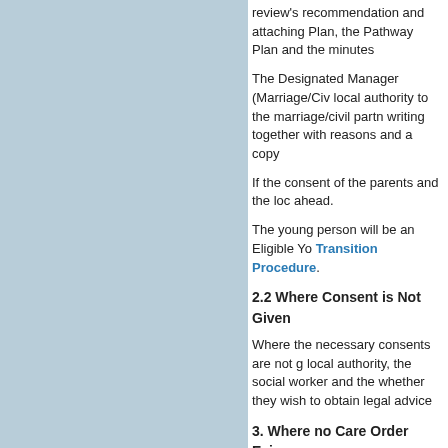review's recommendation and attaching Plan, the Pathway Plan and the minutes
The Designated Manager (Marriage/Civil local authority to the marriage/civil partnership writing together with reasons and a copy
If the consent of the parents and the local authority ahead.
The young person will be an Eligible Young person Transition Procedure.
2.2 Where Consent is Not Given
Where the necessary consents are not given, local authority, the social worker and the whether they wish to obtain legal advice
3. Where no Care Order Exists
If a young person of 16 or 17 who is Accommodated partnership, this should be considered and the local authority is not necessary.
Where the parents give consent, the marriage/civil person leaves the looked after service and entitled to support under Leaving Care